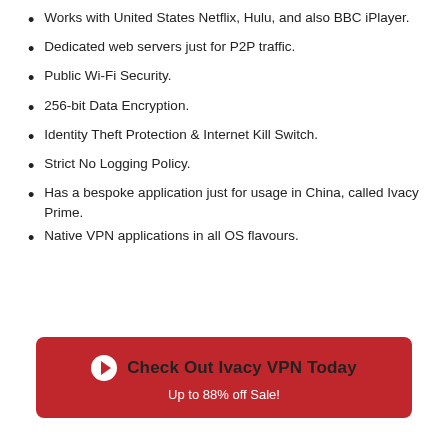Works with United States Netflix, Hulu, and also BBC iPlayer.
Dedicated web servers just for P2P traffic.
Public Wi-Fi Security.
256-bit Data Encryption.
Identity Theft Protection & Internet Kill Switch.
Strict No Logging Policy.
Has a bespoke application just for usage in China, called Ivacy Prime.
Native VPN applications in all OS flavours.
Check Out Ivacy VPN Today
Up to 88% off Sale!